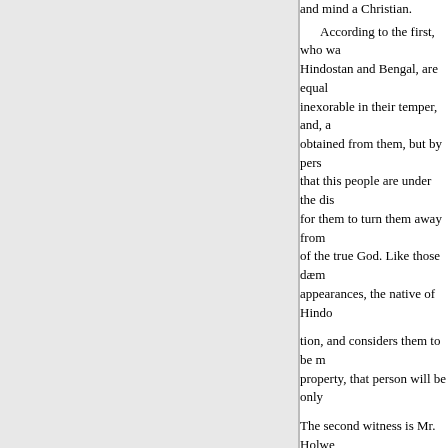and mind a Christian. According to the first, who wa Hindostan and Bengal, are equal inexorable in their temper, and, a obtained from them, but by pers that this people are under the dis for them to turn them away from of the true God. Like those dæm appearances, the native of Hindo tion, and considers them to be m property, that person will be only The second witness is Mr. Holwe century. "The Gentoos, says he, a as any race of beings in the old w And we can truly aver, that durin never any murder, nor other atro was at the bottom of it." Now, if such were, in general, want of integrity, which he charg The third witness is Capt. Wil long resided in the society of the been guilty of interpolating his b